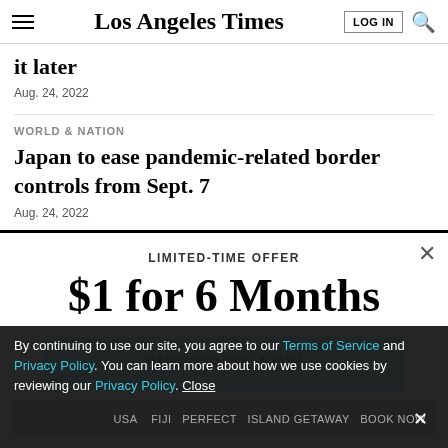Los Angeles Times
it later
Aug. 24, 2022
WORLD & NATION
Japan to ease pandemic-related border controls from Sept. 7
Aug. 24, 2022
LIMITED-TIME OFFER
$1 for 6 Months
SUBSCRIBE NOW
By continuing to use our site, you agree to our Terms of Service and Privacy Policy. You can learn more about how we use cookies by reviewing our Privacy Policy. Close